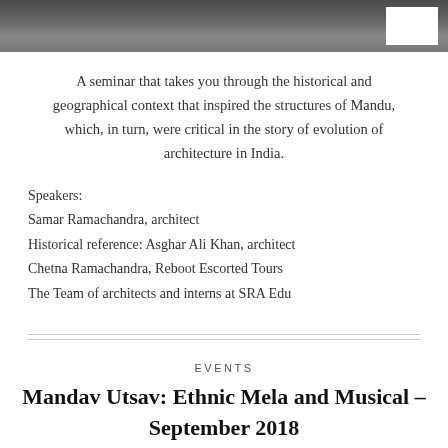[Figure (photo): Grayscale photograph of a historical structure/building, partially visible at top of page with a white rectangle in the upper right corner.]
A seminar that takes you through the historical and geographical context that inspired the structures of Mandu, which, in turn, were critical in the story of evolution of architecture in India.
Speakers:
Samar Ramachandra, architect
Historical reference: Asghar Ali Khan, architect
Chetna Ramachandra, Reboot Escorted Tours
The Team of architects and interns at SRA Edu
EVENTS
Mandav Utsav: Ethnic Mela and Musical – September 2018